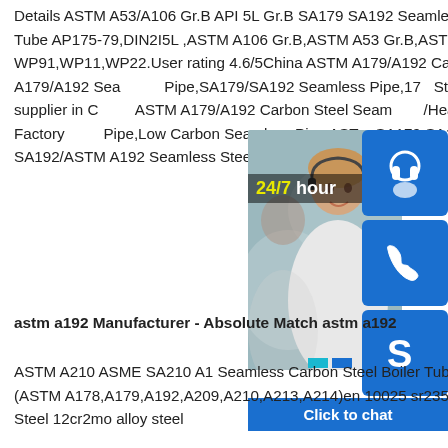Details ASTM A53/A106 Gr.B API 5L Gr.B SA179 SA192 Seamless Steel Pipe / Welded Steel Tube AP175-79,DIN2I5L ,ASTM A106 Gr.B,ASTM A53 Gr.B,ASTM A179/A192/A213/A210 /370 WP91,WP11,WP22.User rating 4.6/5China ASTM A179/A192 Carbon Seamless Boiler Tube A179/A192 Seamless Pipe,SA179/SA192 Seamless Pipe,17 Steel Pipe manufacturer / supplier in China, ASTM A179/A192 Carbon Steel Seamless /Heat Exchanger Tube,China Factory Pipe,Low Carbon Seamless Pipe ASTM SA179 SA179 Boiler Superheater Steel SA192/ASTM A192 Seamless Steel Pipe Heat Exchanger /Boiler
[Figure (photo): Customer service representative with headset smiling, with 24/7 hour overlay and blue icons for headset, phone, skype, and click to chat button]
astm a192 Manufacturer - Absolute Match astm a192
ASTM A210 ASME SA210 A1 Seamless Carbon Steel Boiler Tube,GB5310 20G,15MoG,12CrMoG (ASTM A178,A179,A192,A209,A210,A213,A214)en 10025 sr235 importer - S355jr steel - Carbon Steel 12cr2mo alloy steel